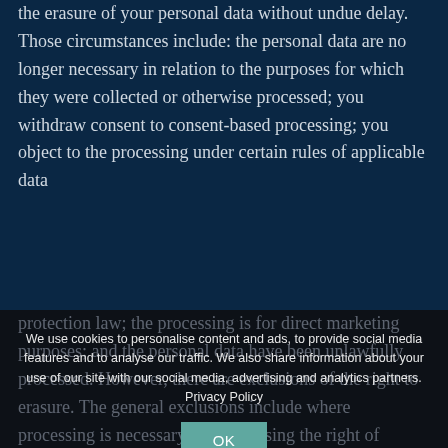the erasure of your personal data without undue delay. Those circumstances include: the personal data are no longer necessary in relation to the purposes for which they were collected or otherwise processed; you withdraw consent to consent-based processing; you object to the processing under certain rules of applicable data
protection law; the processing is for direct marketing purposes; and the personal data have been unlawfully processed. However, there are exclusions of the right to erasure. The general exclusions include where processing is necessary: for exercising the right of
We use cookies to personalise content and ads, to provide social media features and to analyse our traffic. We also share information about your use of our site with our social media, advertising and analytics partners. Privacy Policy